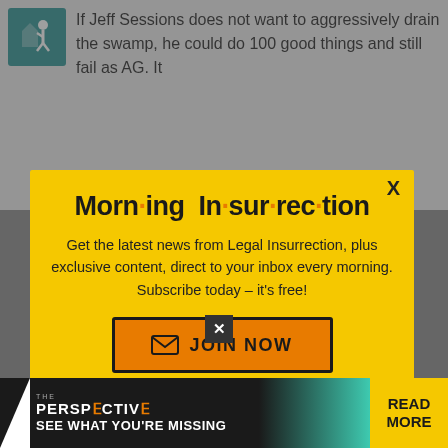If Jeff Sessions does not want to aggressively drain the swamp, he could do 100 good things and still fail as AG. It
[Figure (infographic): Morning Insurrection email newsletter signup modal popup with yellow background, bold title 'Morn·ing In·sur·rec·tion', description text, and orange JOIN NOW button]
the fighter he needs to be to fry the
[Figure (infographic): The Perspective advertisement banner at bottom: dark background with teal gradient, white text 'PERSP CTIVE' with orange flipped letters, 'SEE WHAT YOU'RE MISSING', yellow READ MORE button]